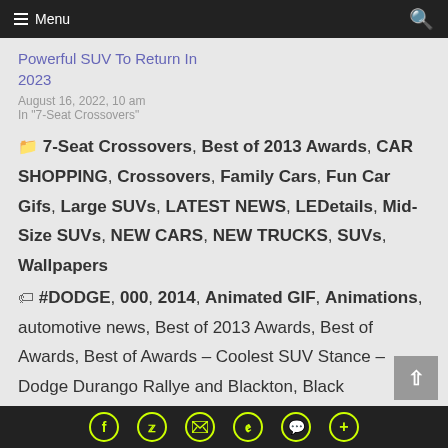Menu
Powerful SUV To Return In 2023
August 16, 2022, 10 am
In "7-Seat Crossovers"
7-Seat Crossovers, Best of 2013 Awards, CAR SHOPPING, Crossovers, Family Cars, Fun Car Gifs, Large SUVs, LATEST NEWS, LEDetails, Mid-Size SUVs, NEW CARS, NEW TRUCKS, SUVs, Wallpapers
#DODGE, 000, 2014, Animated GIF, Animations, automotive news, Best of 2013 Awards, Best of Awards, Best of Awards – Coolest SUV Stance – Dodge Durango Rallye and Blackton, Black
Social share icons: Facebook, Twitter, Email, Pinterest, WhatsApp, More